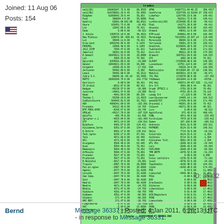Joined: 11 Aug 06
Posts: 154
[Figure (screenshot): Green spreadsheet screenshot showing a financial ledger with many rows of data including names, numbers, and totals. Header reads 'trades'. Bottom row shows 'Totals' with sum values.]
ID: 36332
Bernd
Message 36337 - Posted: 4 Jan 2011, 6:26:13 UTC - in response to Message 36331.